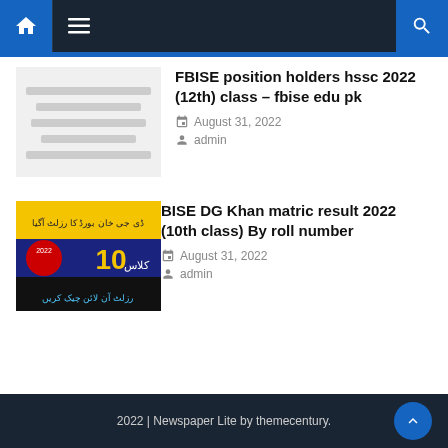[Figure (screenshot): Navigation bar with home icon, hamburger menu, and search icon on dark background]
FBISE position holders hssc 2022 (12th) class – fbise edu pk
August 31, 2022
admin
[Figure (photo): Urdu text image showing DG Khan Board result 2022 for 10th class]
BISE DG Khan matric result 2022 (10th class) By roll number
August 31, 2022
admin
2022 | Newspaper Lite by themecentury.